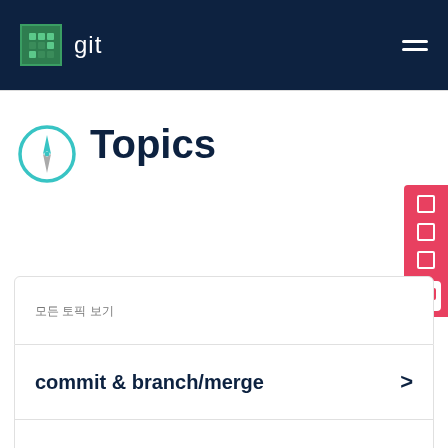git
Topics
모든 토픽 보기
commit & branch/merge